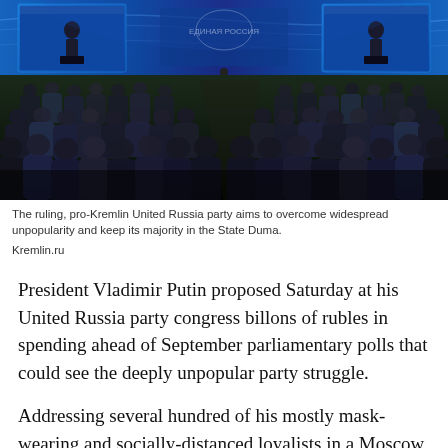[Figure (photo): A large conference hall filled with several hundred attendees seated in rows, viewed from behind. At the front is a stage with large blue screens displaying a speaker at a podium. The screens show the United Russia party logo area. The scene is dimly lit with a blue political-event atmosphere.]
The ruling, pro-Kremlin United Russia party aims to overcome widespread unpopularity and keep its majority in the State Duma.
Kremlin.ru
President Vladimir Putin proposed Saturday at his United Russia party congress billons of rubles in spending ahead of September parliamentary polls that could see the deeply unpopular party struggle.
Addressing several hundred of his mostly mask-wearing and socially-distanced loyalists in a Moscow